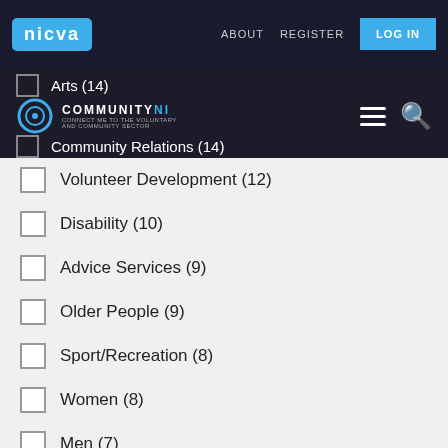NICVA COMMUNITYNI | ABOUT | REGISTER | LOG IN
Arts (14)
Community Relations (14)
Volunteer Development (12)
Disability (10)
Advice Services (9)
Older People (9)
Sport/Recreation (8)
Women (8)
Men (7)
Race/Ethnicity (6)
Rural Development (3)
Carers (2)